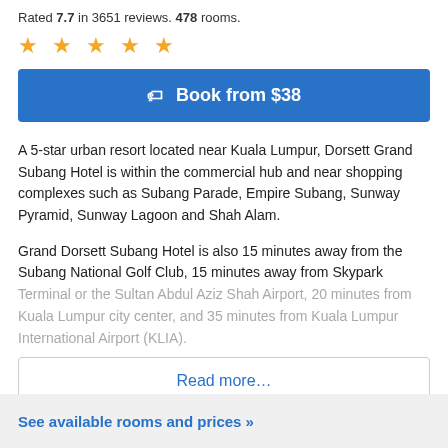Rated 7.7 in 3651 reviews. 478 rooms.
★ ★ ★ ★ ★
Book from $38
A 5-star urban resort located near Kuala Lumpur, Dorsett Grand Subang Hotel is within the commercial hub and near shopping complexes such as Subang Parade, Empire Subang, Sunway Pyramid, Sunway Lagoon and Shah Alam.
Grand Dorsett Subang Hotel is also 15 minutes away from the Subang National Golf Club, 15 minutes away from Skypark Terminal or the Sultan Abdul Aziz Shah Airport, 20 minutes from Kuala Lumpur city center, and 35 minutes from Kuala Lumpur International Airport (KLIA).
Read more...
See available rooms and prices »